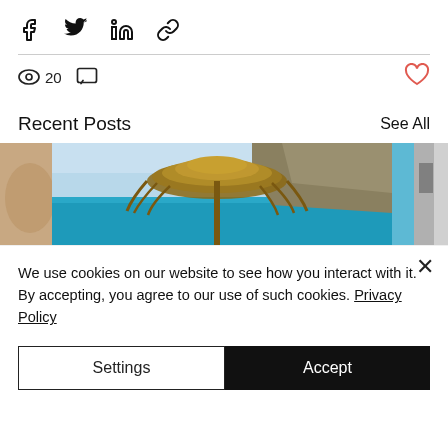[Figure (screenshot): Share icons row: Facebook, Twitter, LinkedIn, link/chain icon]
20  (views icon) (comment icon)  (heart icon)
Recent Posts   See All
[Figure (photo): Three post thumbnail images side by side: partial beige/brown on left, center beach scene with thatched umbrella and turquoise sea and rocky hill, partial black-and-white image on right]
We use cookies on our website to see how you interact with it. By accepting, you agree to our use of such cookies. Privacy Policy
Settings   Accept